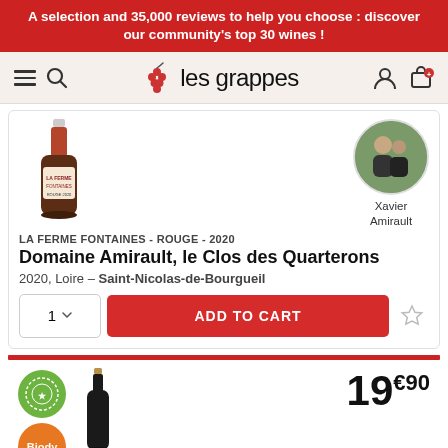A selection and 35,000 reviews to help you choose : discover our community's top 30 wines !
[Figure (logo): les grappes website logo with grape cluster icon]
[Figure (photo): Wine bottle of La Ferme Fontaines Rouge 2020]
[Figure (photo): Circular portrait photo of Xavier Amirault (two people)]
Xavier Amirault
LA FERME FONTAINES - ROUGE - 2020
Domaine Amirault, le Clos des Quarterons
2020, Loire - Saint-Nicolas-de-Bourgueil
ADD TO CART
[Figure (photo): Second wine bottle (dark, with cork top visible)]
19€90